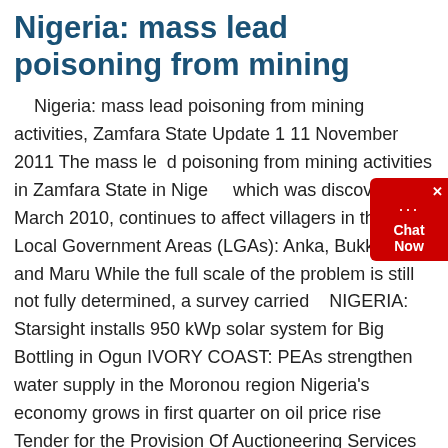Nigeria: mass lead poisoning from mining
Nigeria: mass lead poisoning from mining activities, Zamfara State Update 1 11 November 2011 The mass lead poisoning from mining activities in Zamfara State in Nigeria, which was discovered in March 2010, continues to affect villagers in three Local Government Areas (LGAs): Anka, Bukkuyum and Maru While the full scale of the problem is still not fully determined, a survey carried    NIGERIA: Starsight installs 950 kWp solar system for Big Bottling in Ogun IVORY COAST: PEAs strengthen water supply in the Moronou region Nigeria's economy grows in first quarter on oil price rise Tender for the Provision Of Auctioneering Services Kenya Tender for the Provision Of Water Tinkering And Exhauster Services KenyaThe African